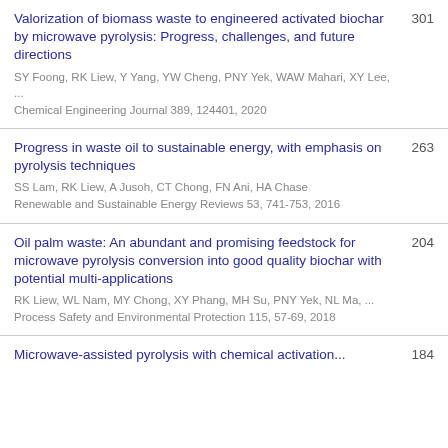Valorization of biomass waste to engineered activated biochar by microwave pyrolysis: Progress, challenges, and future directions | SY Foong, RK Liew, Y Yang, YW Cheng, PNY Yek, WAW Mahari, XY Lee, ... | Chemical Engineering Journal 389, 124401, 2020 | 301
Progress in waste oil to sustainable energy, with emphasis on pyrolysis techniques | SS Lam, RK Liew, A Jusoh, CT Chong, FN Ani, HA Chase | Renewable and Sustainable Energy Reviews 53, 741-753, 2016 | 263
Oil palm waste: An abundant and promising feedstock for microwave pyrolysis conversion into good quality biochar with potential multi-applications | RK Liew, WL Nam, MY Chong, XY Phang, MH Su, PNY Yek, NL Ma, ... | Process Safety and Environmental Protection 115, 57-69, 2018 | 204
Microwave-assisted pyrolysis with chemical activation... | 184